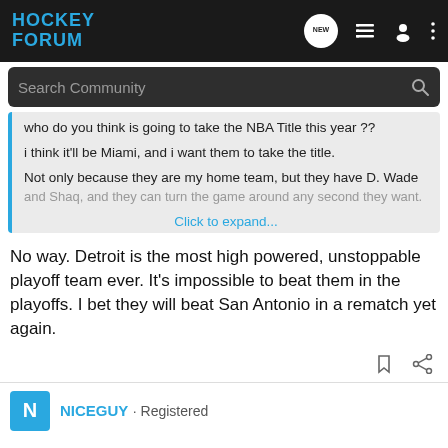HOCKEY FORUM
Search Community
who do you think is going to take the NBA Title this year ??
i think it'll be Miami, and i want them to take the title.
Not only because they are my home team, but they have D. Wade and Shaq, and they can turn the game around any second they want.
Click to expand...
No way. Detroit is the most high powered, unstoppable playoff team ever. It's impossible to beat them in the playoffs. I bet they will beat San Antonio in a rematch yet again.
NICEGUY · Registered